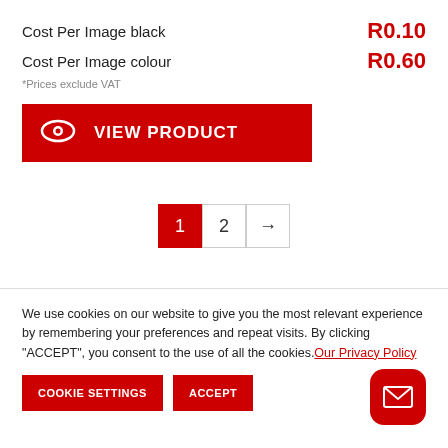Cost Per Image black — R0.10
Cost Per Image colour — R0.60
*Prices exclude VAT
[Figure (other): Red VIEW PRODUCT button with eye icon]
[Figure (other): Pagination: page 1 active (red), page 2, next arrow]
We use cookies on our website to give you the most relevant experience by remembering your preferences and repeat visits. By clicking “ACCEPT”, you consent to the use of all the cookies. Our Privacy Policy
[Figure (other): COOKIE SETTINGS and ACCEPT buttons, plus red mail button]